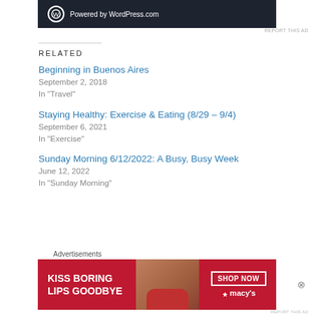[Figure (screenshot): WordPress.com powered banner in dark navy background with WordPress logo and text 'Powered by WordPress.com']
REPORT THIS AD
RELATED
Beginning in Buenos Aires
September 2, 2018
In "Travel"
Staying Healthy: Exercise & Eating (8/29 – 9/4)
September 6, 2021
In "Exercise"
Sunday Morning 6/12/2022: A Busy, Busy Week
June 12, 2022
In "Sunday Morning"
Advertisements
[Figure (photo): Macy's advertisement banner with red background, woman's face with red lips, text 'KISS BORING LIPS GOODBYE', 'SHOP NOW' button, and Macy's star logo]